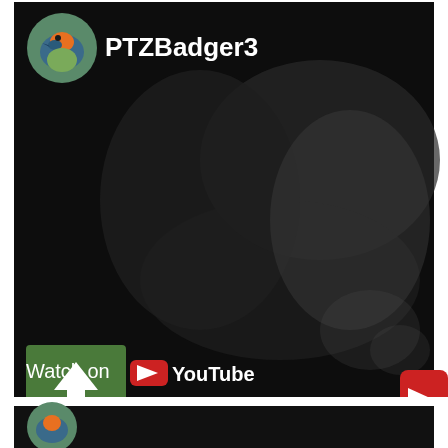[Figure (screenshot): YouTube video thumbnail screenshot showing a dark/night vision wildlife camera image. Top section shows a YouTube video embed with channel avatar (kingfisher bird) and channel name PTZBadger3, a green upward arrow button overlay, a partially visible red YouTube play button on the right, and a 'Watch on YouTube' label at the bottom left of the video. Below the video is white space, then the top portion of a second similar video embed.]